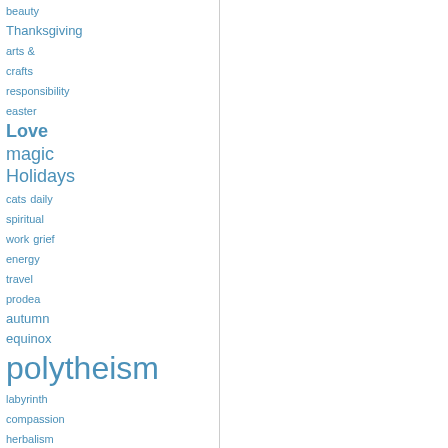beauty
Thanksgiving
arts & crafts
responsibility
easter
Love
magic
Holidays
cats
daily
spiritual
work
grief
energy
travel
prodea
autumn equinox
polytheism
labyrinth
compassion
herbalism
spiritual practice
New Moon
Reading
book reviews
Womans Belly Book
Horned One
myth
norse mythology
Pagan savings challenge
herbalism